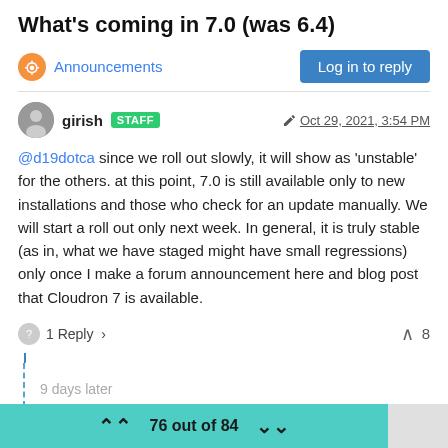What's coming in 7.0 (was 6.4)
Announcements
Log in to reply
girish STAFF  Oct 29, 2021, 3:54 PM
@d19dotca since we roll out slowly, it will show as 'unstable' for the others. at this point, 7.0 is still available only to new installations and those who check for an update manually. We will start a roll out only next week. In general, it is truly stable (as in, what we have staged might have small regressions) only once I make a forum announcement here and blog post that Cloudron 7 is available.
1 Reply  >   8
9 days later
76 out of 84